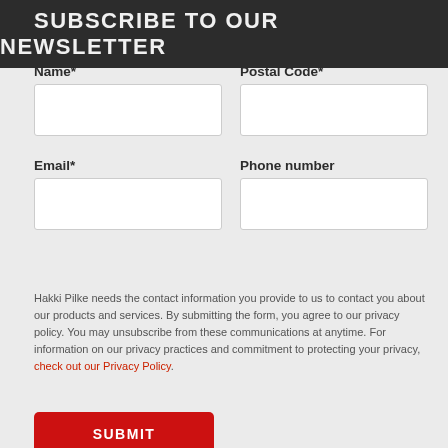SUBSCRIBE TO OUR NEWSLETTER
Name*
Postal Code*
Email*
Phone number
Hakki Pilke needs the contact information you provide to us to contact you about our products and services. By submitting the form, you agree to our privacy policy. You may unsubscribe from these communications at anytime. For information on our privacy practices and commitment to protecting your privacy, check out our Privacy Policy.
SUBMIT